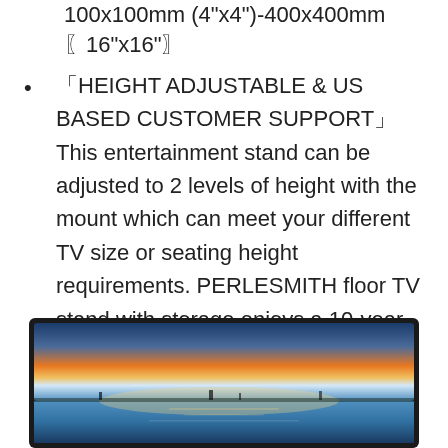100x100mm (4"x4")-400x400mm (16"x16")
「HEIGHT ADJUSTABLE & US BASED CUSTOMER SUPPORT」This entertainment stand can be adjusted to 2 levels of height with the mount which can meet your different TV size or seating height requirements. PERLESMITH floor TV stand with storage enjoys a 10-year product support if you have any questions
[Figure (photo): Partial view of a flat-screen TV showing a scenic sunset landscape image on the display, with water and horizon visible.]